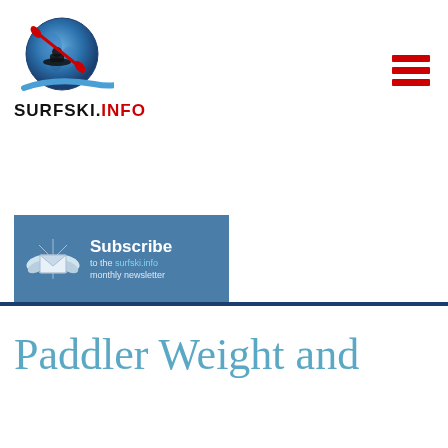[Figure (logo): Surfski.info logo: globe with kayaker silhouette and red paddle, with blue swoosh wave, above the text SURFSKI.INFO in black and red]
[Figure (illustration): Hamburger menu icon: three horizontal red bars]
[Figure (illustration): Subscribe banner: blue background with winged envelope icon and text 'Subscribe to the surfski.info monthly newsletter']
Paddler Weight and